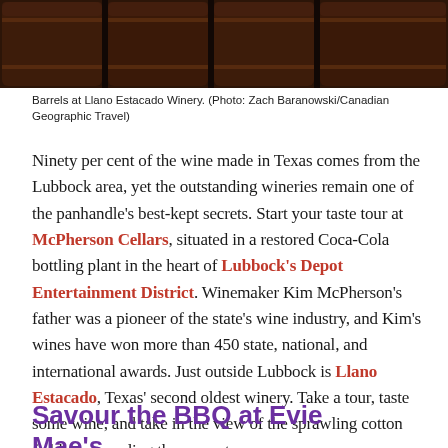[Figure (photo): Wooden barrels at Llano Estacado Winery, dark interior storage room with multiple barrel racks visible]
Barrels at Llano Estacado Winery. (Photo: Zach Baranowski/Canadian Geographic Travel)
Ninety per cent of the wine made in Texas comes from the Lubbock area, yet the outstanding wineries remain one of the panhandle's best-kept secrets. Start your taste tour at McPherson Cellars, situated in a restored Coca-Cola bottling plant in the heart of Lubbock's Depot Entertainment District. Winemaker Kim McPherson's father was a pioneer of the state's wine industry, and Kim's wines have won more than 450 state, national, and international awards. Just outside Lubbock is Llano Estacado, Texas' second oldest winery. Take a tour, taste some wine, and take in the view of the sprawling cotton fields surrounding the property.
Savour the BBQ at Evie Mae's